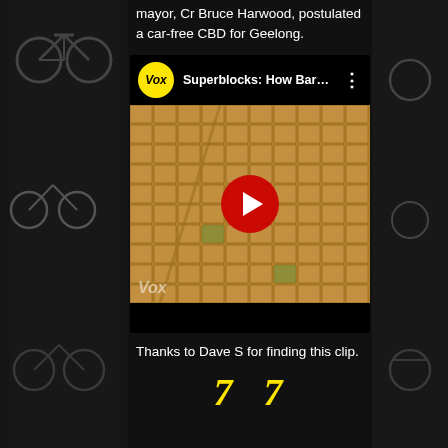mayor, Cr Bruce Harwood, postulated a car-free CBD for Geelong.
[Figure (screenshot): Embedded YouTube video by Vox titled 'Superblocks: How Barcel...' showing aerial view of Barcelona city grid with red play button overlay]
Thanks to Dave S for finding this clip.
[Figure (screenshot): Bottom portion of a second video or image preview showing yellow italic text partially visible]